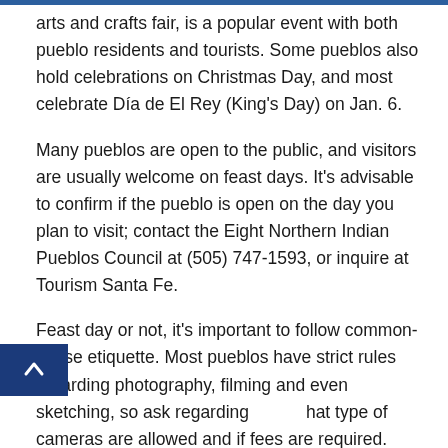arts and crafts fair, is a popular event with both pueblo residents and tourists. Some pueblos also hold celebrations on Christmas Day, and most celebrate Día de El Rey (King's Day) on Jan. 6.
Many pueblos are open to the public, and visitors are usually welcome on feast days. It's advisable to confirm if the pueblo is open on the day you plan to visit; contact the Eight Northern Indian Pueblos Council at (505) 747-1593, or inquire at Tourism Santa Fe.
Feast day or not, it's important to follow common-sense etiquette. Most pueblos have strict rules regarding photography, filming and even sketching, so ask regarding what type of cameras are allowed and if fees are required. Ignoring these rules could result in the confiscation of your equipment.